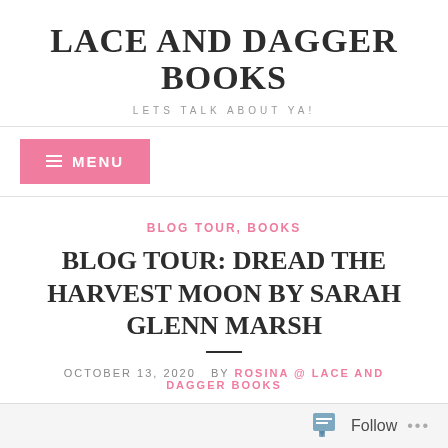LACE AND DAGGER BOOKS
LETS TALK ABOUT YA!
≡ MENU
BLOG TOUR, BOOKS
BLOG TOUR: DREAD THE HARVEST MOON BY SARAH GLENN MARSH
OCTOBER 13, 2020   BY ROSINA @ LACE AND DAGGER BOOKS
Follow